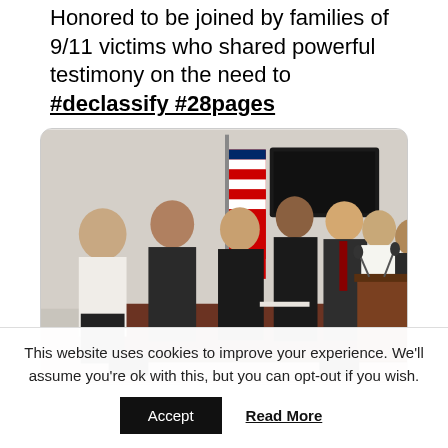Honored to be joined by families of 9/11 victims who shared powerful testimony on the need to #declassify #28pages
[Figure (photo): Group of people standing at a press conference podium in what appears to be a government building. Several individuals in formal attire stand behind a large wooden table. An American flag is visible in the background along with a TV monitor. A speaker is at a podium with microphones on the right side.]
This website uses cookies to improve your experience. We'll assume you're ok with this, but you can opt-out if you wish.